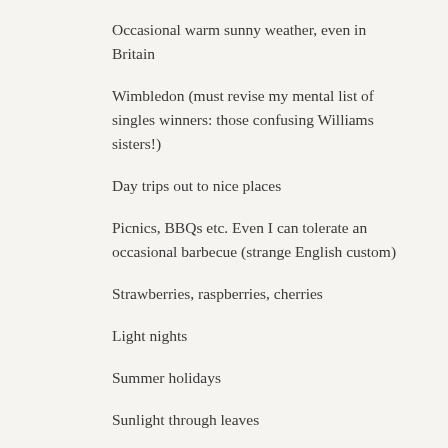Occasional warm sunny weather, even in Britain
Wimbledon (must revise my mental list of singles winners: those confusing Williams sisters!)
Day trips out to nice places
Picnics, BBQs etc. Even I can tolerate an occasional barbecue (strange English custom)
Strawberries, raspberries, cherries
Light nights
Summer holidays
Sunlight through leaves